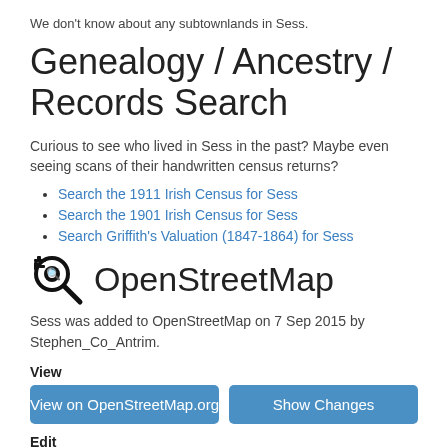We don't know about any subtownlands in Sess.
Genealogy / Ancestry / Records Search
Curious to see who lived in Sess in the past? Maybe even seeing scans of their handwritten census returns?
Search the 1911 Irish Census for Sess
Search the 1901 Irish Census for Sess
Search Griffith's Valuation (1847-1864) for Sess
OpenStreetMap
Sess was added to OpenStreetMap on 7 Sep 2015 by Stephen_Co_Antrim.
View
View on OpenStreetMap.org
Show Changes
Edit